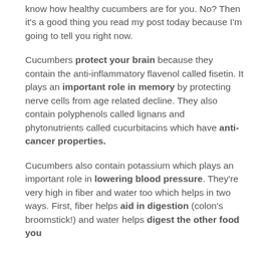know how healthy cucumbers are for you. No? Then it's a good thing you read my post today because I'm going to tell you right now.
Cucumbers protect your brain because they contain the anti-inflammatory flavenol called fisetin. It plays an important role in memory by protecting nerve cells from age related decline. They also contain polyphenols called lignans and phytonutrients called cucurbitacins which have anti-cancer properties.
Cucumbers also contain potassium which plays an important role in lowering blood pressure. They're very high in fiber and water too which helps in two ways. First, fiber helps aid in digestion (colon's broomstick!) and water helps digest the other food you